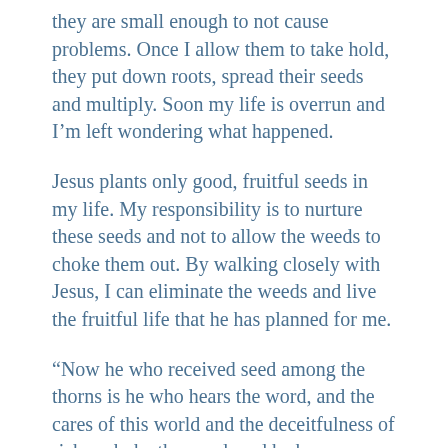they are small enough to not cause problems. Once I allow them to take hold, they put down roots, spread their seeds and multiply. Soon my life is overrun and I'm left wondering what happened.
Jesus plants only good, fruitful seeds in my life. My responsibility is to nurture these seeds and not to allow the weeds to choke them out. By walking closely with Jesus, I can eliminate the weeds and live the fruitful life that he has planned for me.
“Now he who received seed among the thorns is he who hears the word, and the cares of this world and the deceitfulness of riches choke the word, and he becomes unfruitful.” Matthew 13:23 NKJV